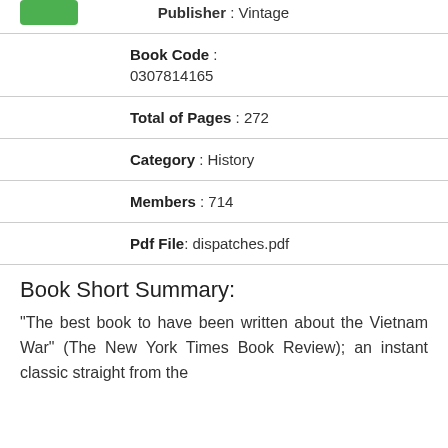Publisher : Vintage
Book Code : 0307814165
Total of Pages : 272
Category : History
Members : 714
Pdf File: dispatches.pdf
Book Short Summary:
"The best book to have been written about the Vietnam War" (The New York Times Book Review); an instant classic straight from the